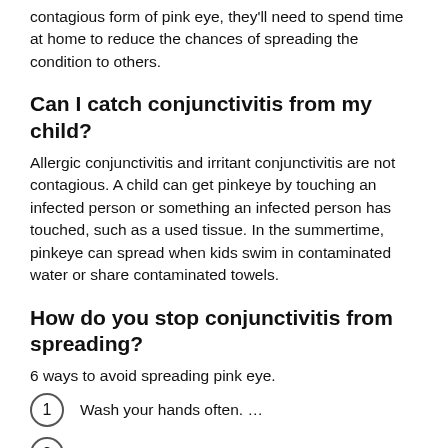contagious form of pink eye, they'll need to spend time at home to reduce the chances of spreading the condition to others.
Can I catch conjunctivitis from my child?
Allergic conjunctivitis and irritant conjunctivitis are not contagious. A child can get pinkeye by touching an infected person or something an infected person has touched, such as a used tissue. In the summertime, pinkeye can spread when kids swim in contaminated water or share contaminated towels.
How do you stop conjunctivitis from spreading?
6 ways to avoid spreading pink eye.
Wash your hands often. …
Avoid touching your eyes, nose, or mouth. …